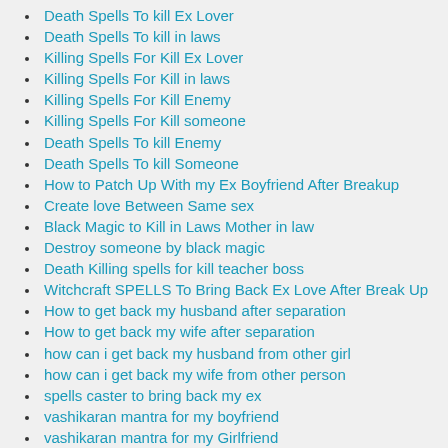Death Spells To kill Ex Lover
Death Spells To kill in laws
Killing Spells For Kill Ex Lover
Killing Spells For Kill in laws
Killing Spells For Kill Enemy
Killing Spells For Kill someone
Death Spells To kill Enemy
Death Spells To kill Someone
How to Patch Up With my Ex Boyfriend After Breakup
Create love Between Same sex
Black Magic to Kill in Laws Mother in law
Destroy someone by black magic
Death Killing spells for kill teacher boss
Witchcraft SPELLS To Bring Back Ex Love After Break Up
How to get back my husband after separation
How to get back my wife after separation
how can i get back my husband from other girl
how can i get back my wife from other person
spells caster to bring back my ex
vashikaran mantra for my boyfriend
vashikaran mantra for my Girlfriend
vashikaran mantra for my husband